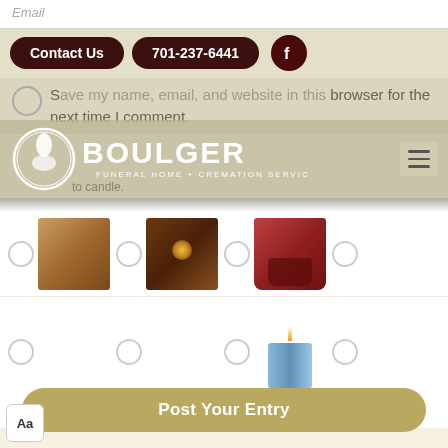Email
Contact Us | 701-237-6441 | Facebook
Save my name, email, and website in this browser for the next time I comment.
[Figure (logo): Boulger Funeral Home + Cremation Services logo with navigation menu hamburger icon]
[Figure (photo): Candle selection interface showing radio buttons with candle thumbnail images in two rows; row 1 has three candle photos, row 2 has one blue candle selected]
Post Your Entry